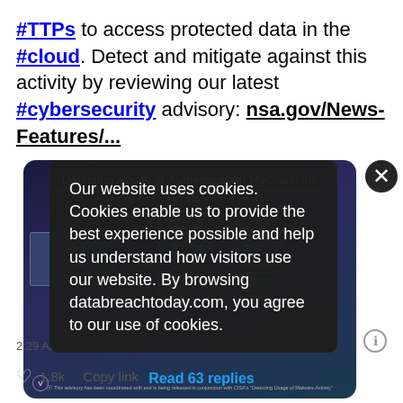#TTPs to access protected data in the #cloud. Detect and mitigate against this activity by reviewing our latest #cybersecurity advisory: nsa.gov/News-Features/...
[Figure (infographic): NSA infographic titled 'Detecting Abuse of Authentication Mechanisms' with subtitle 'UNDERSTANDING THE THREAT', showing a flow diagram of attack steps including SAML token abuse and cloud access]
Our website uses cookies. Cookies enable us to provide the best experience possible and help us understand how visitors use our website. By browsing databreachtoday.com, you agree to our use of cookies.
2:29 AM · Dec 16, 2020
1.8k  Copy link  Read 63 replies